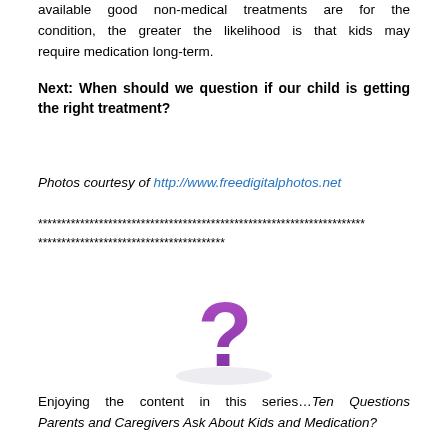available good non-medical treatments are for the condition, the greater the likelihood is that kids may require medication long-term.
Next: When should we question if our child is getting the right treatment?
Photos courtesy of http://www.freedigitalphotos.net
******************************************************************************
****************************************
[Figure (illustration): A 3D purple question mark on a light background]
Enjoying the content in this series…Ten Questions Parents and Caregivers Ask About Kids and Medication?